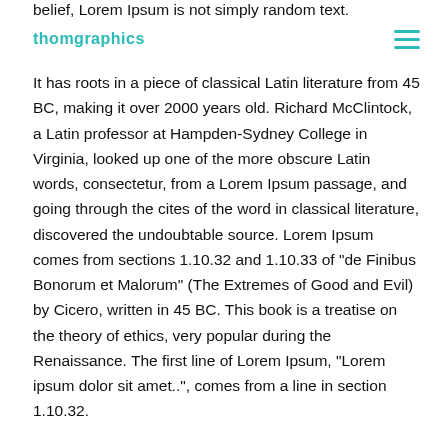belief, Lorem Ipsum is not simply random text.
thomgraphics
It has roots in a piece of classical Latin literature from 45 BC, making it over 2000 years old. Richard McClintock, a Latin professor at Hampden-Sydney College in Virginia, looked up one of the more obscure Latin words, consectetur, from a Lorem Ipsum passage, and going through the cites of the word in classical literature, discovered the undoubtable source. Lorem Ipsum comes from sections 1.10.32 and 1.10.33 of "de Finibus Bonorum et Malorum" (The Extremes of Good and Evil) by Cicero, written in 45 BC. This book is a treatise on the theory of ethics, very popular during the Renaissance. The first line of Lorem Ipsum, "Lorem ipsum dolor sit amet..", comes from a line in section 1.10.32.